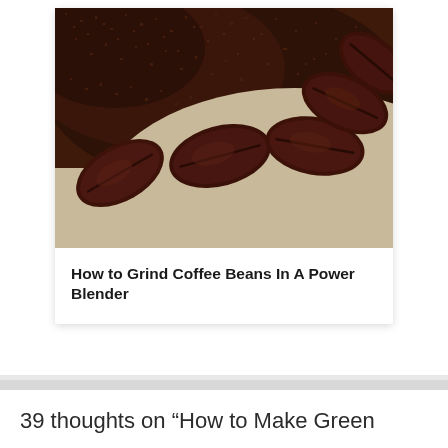[Figure (photo): Close-up photo of roasted coffee beans alongside ground coffee powder on a beige/cream surface]
How to Grind Coffee Beans In A Power Blender
39 thoughts on “How to Make Green